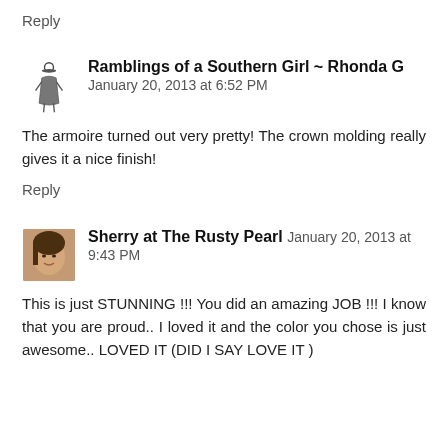Reply
Ramblings of a Southern Girl ~ Rhonda G January 20, 2013 at 6:52 PM
The armoire turned out very pretty! The crown molding really gives it a nice finish!
Reply
Sherry at The Rusty Pearl January 20, 2013 at 9:43 PM
This is just STUNNING !!! You did an amazing JOB !!! I know that you are proud.. I loved it and the color you chose is just awesome.. LOVED IT (DID I SAY LOVE IT )